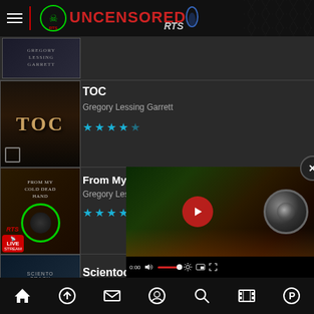[Figure (screenshot): Uncensored RTS app header with hamburger menu, red divider, green skull logo and stylized UNCENSORED RTS text in red and white with blue flame]
[Figure (screenshot): Partial book cover for Gregory Lessing Garrett book at top of list]
TOC
Gregory Lessing Garrett
[Figure (screenshot): TOC book cover with ornate library interior and golden text]
From My Cold
Gregory Lessin
[Figure (screenshot): From My Cold Dead Hands book cover with western cowboy figure and RTS logo]
[Figure (screenshot): Video player overlay showing temple/Buddha scene with play button, camera icon, and video controls showing 0:00 timestamp]
Scientocracy
[Figure (screenshot): Scientocracy book cover partial view]
[Figure (screenshot): Bottom navigation bar with home, upload, email, user, search, film, and PayPal icons]